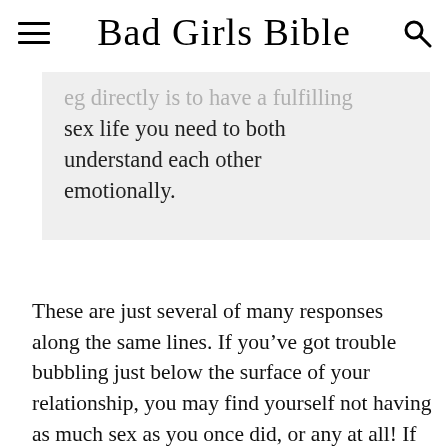Bad Girls Bible
...sex life you need to both understand each other emotionally.
These are just several of many responses along the same lines. If you’ve got trouble bubbling just below the surface of your relationship, you may find yourself not having as much sex as you once did, or any at all! If you want to work on issues inside the bedroom, you need to open that door...